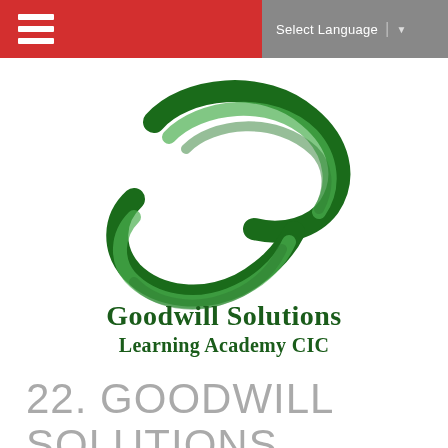Select Language
[Figure (logo): Goodwill Solutions Learning Academy CIC logo — circular globe-like swirl design in dark green and light green, with text 'Goodwill Solutions Learning Academy CIC' in dark green serif-bold font]
22. GOODWILL SOLUTIONS LEARNING